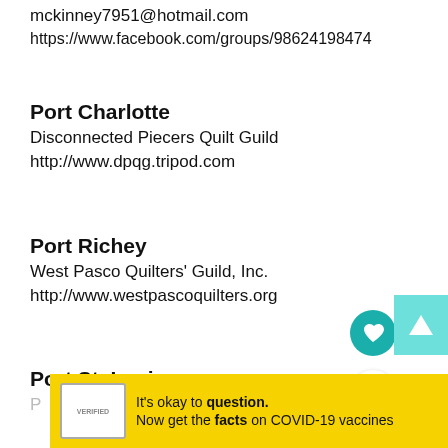mckinney7951@hotmail.com
https://www.facebook.com/groups/98624198474
Port Charlotte
Disconnected Piecers Quilt Guild
http://www.dpqg.tripod.com
Port Richey
West Pasco Quilters' Guild, Inc.
http://www.westpascoquilters.org
Port St. Lucie